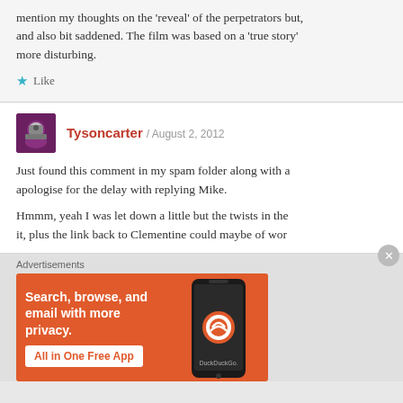mention my thoughts on the 'reveal' of the perpetrators but, and also bit saddened. The film was based on a 'true story' more disturbing.
★ Like
Tysoncarter / August 2, 2012
Just found this comment in my spam folder along with a apologise for the delay with replying Mike.
Hmmm, yeah I was let down a little but the twists in the it, plus the link back to Clementine could maybe of wor
Advertisements
[Figure (infographic): DuckDuckGo advertisement banner with orange background showing text 'Search, browse, and email with more privacy. All in One Free App' alongside a phone image with DuckDuckGo logo]